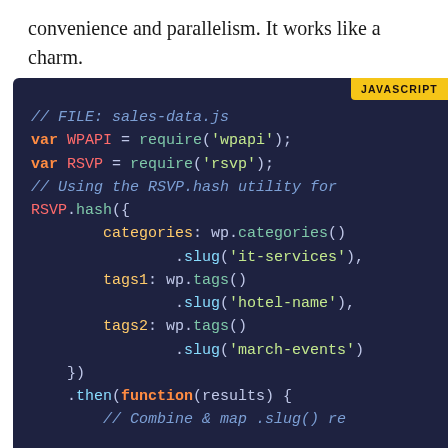convenience and parallelism. It works like a charm.
[Figure (screenshot): JavaScript code block on dark background (#1e2240) with JAVASCRIPT label tag, showing sales-data.js file with WPAPI and RSVP requires and RSVP.hash() call with categories, tags1, tags2 slugs and .then(function(results)) chain]